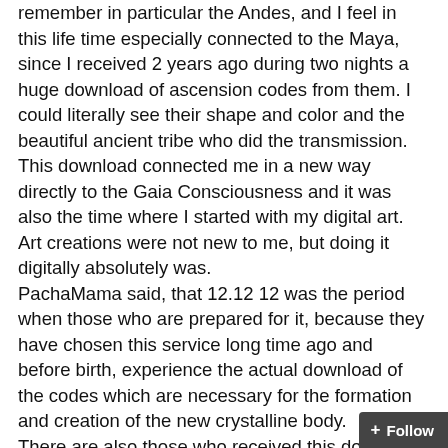remember in particular the Andes, and I feel in this life time especially connected to the Maya, since I received 2 years ago during two nights a huge download of ascension codes from them. I could literally see their shape and color and the beautiful ancient tribe who did the transmission. This download connected me in a new way directly to the Gaia Consciousness and it was also the time where I started with my digital art. Art creations were not new to me, but doing it digitally absolutely was.
PachaMama said, that 12.12 12 was the period when those who are prepared for it, because they have chosen this service long time ago and before birth, experience the actual download of the codes which are necessary for the formation and creation of the new crystalline body.
There are also those who received this download earlier, because their unity consciousness was already to the one or other degree developed. They needed their bodies to keep pace with this process and so the activation process has been done for them already subsequently.